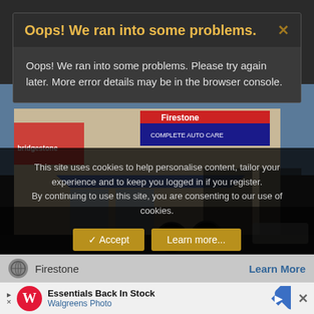[Figure (screenshot): Error modal dialog over a Firestone Complete Auto Care store exterior photo with cookie consent overlay and Walgreens ad banner at bottom]
Oops! We ran into some problems.
Oops! We ran into some problems. Please try again later. More error details may be in the browser console.
This site uses cookies to help personalise content, tailor your experience and to keep you logged in if you register. By continuing to use this site, you are consenting to our use of cookies.
✓ Accept
Learn more...
Firestone
Learn More
Essentials Back In Stock
Walgreens Photo